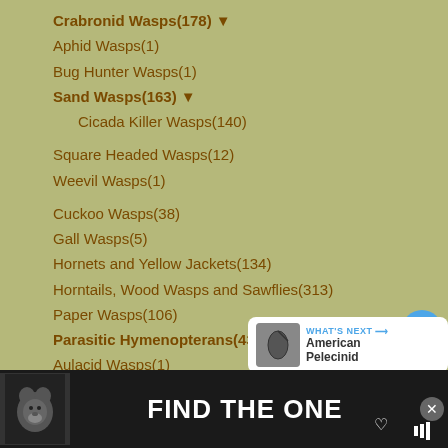Crabronid Wasps(178) ▼
Aphid Wasps(1)
Bug Hunter Wasps(1)
Sand Wasps(163) ▼
Cicada Killer Wasps(140)
Square Headed Wasps(12)
Weevil Wasps(1)
Cuckoo Wasps(38)
Gall Wasps(5)
Hornets and Yellow Jackets(134)
Horntails, Wood Wasps and Sawflies(313)
Paper Wasps(106)
Parasitic Hymenopterans(439) ▼
Aulacid Wasps(1)
Braconids and Chalcids(39)
Carrot Wasps(6)
Cockroach Wasps(6)
Ensign Wasps(25)
[Figure (screenshot): UI overlay with heart/like button, count badge showing 1, share button, and What's Next panel showing American Pelecinid]
[Figure (infographic): Advertisement bar at bottom: black background with dog image, text FIND THE ONE, close button X, music app logo]